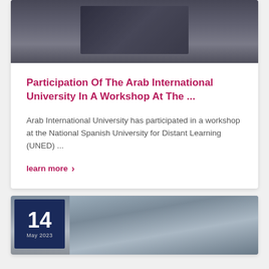[Figure (photo): Two men in suits shaking hands or exchanging an award at a formal ceremony; podiums and microphones visible in background]
Participation Of The Arab International University In A Workshop At The ...
Arab International University has participated in a workshop at the National Spanish University for Distant Learning (UNED) ...
learn more >
[Figure (photo): Conference room or lecture hall with rows of attendees seated; date badge showing '14' in dark blue overlay on lower left]